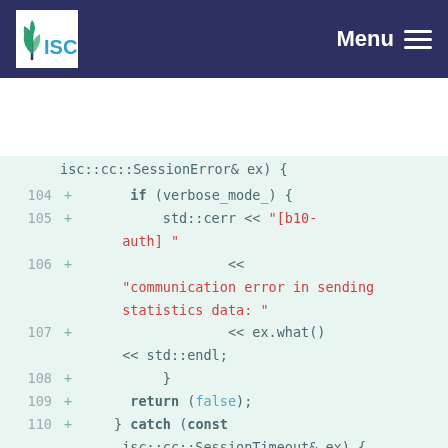ISC - Menu
[Figure (screenshot): Code diff viewer showing C++ code lines 104-114 with line numbers, plus signs, and syntax highlighting on a light green background. Code shows catch blocks for SessionError and SessionTimeout with verbose_mode_ conditions and std::cerr output statements.]